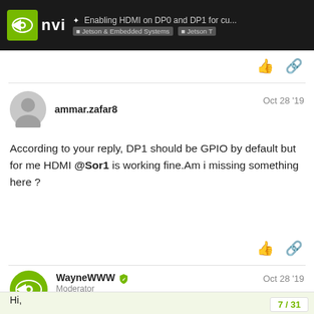Enabling HDMI on DP0 and DP1 for cu... | Jetson & Embedded Systems | Jetson T
According to your reply, DP1 should be GPIO by default but for me HDMI @Sor1 is working fine.Am i missing something here ?
ammar.zafar8  Oct 28 '19
WayneWWW  Moderator  Oct 28 '19
Hi,

A quick way is open below file